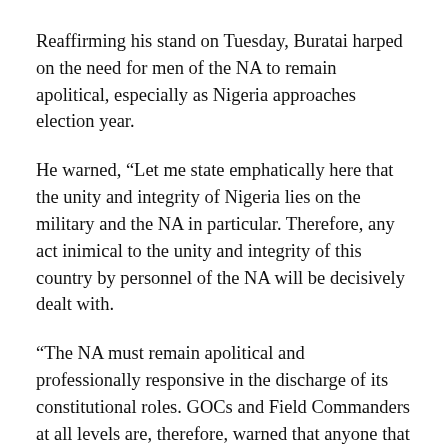Reaffirming his stand on Tuesday, Buratai harped on the need for men of the NA to remain apolitical, especially as Nigeria approaches election year.
He warned, “Let me state emphatically here that the unity and integrity of Nigeria lies on the military and the NA in particular. Therefore, any act inimical to the unity and integrity of this country by personnel of the NA will be decisively dealt with.
“The NA must remain apolitical and professionally responsive in the discharge of its constitutional roles. GOCs and Field Commanders at all levels are, therefore, warned that anyone that runs foul of his professional ethics will be appropriately dealt with.
“You are all enjoined to continue to remind officers and soldiers under command to remain non-partisan and be